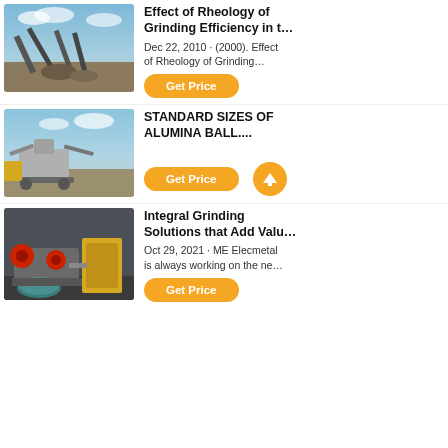[Figure (photo): Outdoor mining/crushing plant equipment with conveyors against a blue sky]
Effect of Rheology of Grinding Efficiency in t…
Dec 22, 2010 · (2000). Effect of Rheology of Grinding…
Get Price
[Figure (photo): Large mobile crushing plant equipment outdoors against blue sky]
STANDARD SIZES OF ALUMINA BALL....
Get Price
[Figure (photo): Industrial grinding mill machinery with red and grey components indoors]
Integral Grinding Solutions that Add Valu…
Oct 29, 2021 · ME Elecmetal is always working on the ne…
Get Price